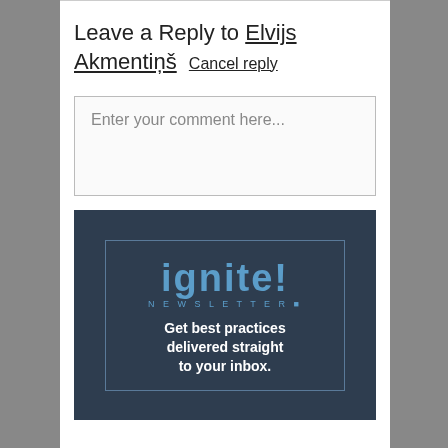Leave a Reply to Elvijs Akmentiņš Cancel reply
Enter your comment here...
[Figure (logo): ignite! NEWSLETTER advertisement banner with tagline: Get best practices delivered straight to your inbox.]